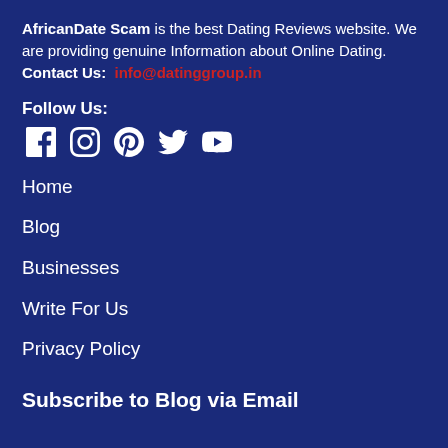AfricanDate Scam is the best Dating Reviews website. We are providing genuine Information about Online Dating. Contact Us: info@datinggroup.in
Follow Us:
[Figure (infographic): Social media icons: Facebook, Instagram, Pinterest, Twitter, YouTube]
Home
Blog
Businesses
Write For Us
Privacy Policy
Subscribe to Blog via Email